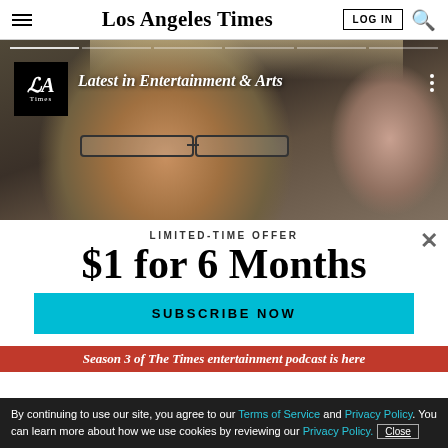Los Angeles Times
[Figure (photo): Close-up photo of an older person with blonde/white hair and glasses, partially visible second person on the right. Banner reads: Latest in Entertainment & Arts]
LIMITED-TIME OFFER
$1 for 6 Months
SUBSCRIBE NOW
Season 3 of The Times entertainment podcast is here
By continuing to use our site, you agree to our Terms of Service and Privacy Policy. You can learn more about how we use cookies by reviewing our Privacy Policy. Close